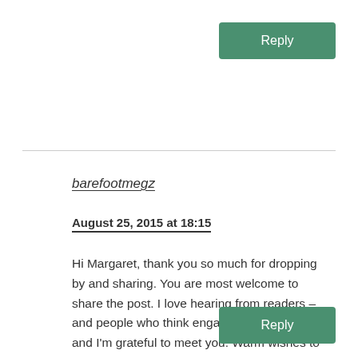Reply
barefootmegz
August 25, 2015 at 18:15
Hi Margaret, thank you so much for dropping by and sharing. You are most welcome to share the post. I love hearing from readers – and people who think engage with the world – and I'm grateful to meet you. Warm wishes to you!
Reply